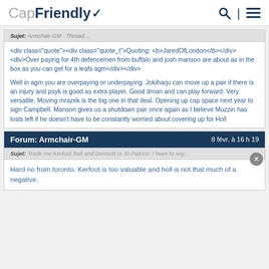CapFriendly
<div class="quote"><div class="quote_t">Quoting: <b>JaredOfLondon</b></div><div>Over paying for 4th defencemen from buffalo and josh manson are about as in the box as you can get for a leafs agm</div></div>

Well in agm you are overpaying or underpaying. Jokiharju can move up a pair if there is an injury and psyk is good as extra player. Good dman and can play forward. Very versatile. Moving mrazek is the big one in that deal. Opening up cap space next year to sign Campbell. Manson gives us a shutdown pair once again as I believe Muzzin has losts left if he doesn't have to be constantly worried about covering up for Holl
Forum: Armchair-GM — 8 févr. à 16 h 19
Hard no from toronto. Kerfoot is too valuable and holl is not that much of a negative.